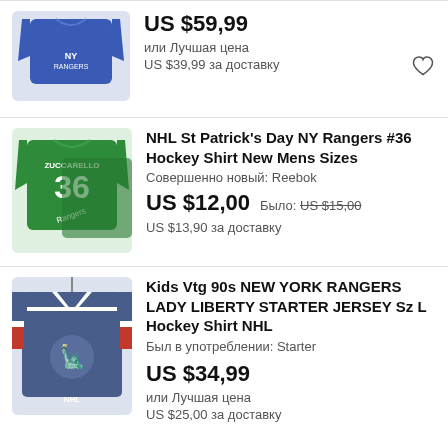[Figure (screenshot): First listing: Blue NY Rangers t-shirt thumbnail]
US $59,99
или Лучшая цена
US $39,99 за доставку
[Figure (screenshot): Second listing: Green NHL St Patrick's Day NY Rangers #36 shirt thumbnail]
NHL St Patrick's Day NY Rangers #36 Hockey Shirt New Mens Sizes
Совершенно новый: Reebok
US $12,00
Было: US $15,00
US $13,90 за доставку
[Figure (screenshot): Third listing: Blue/red NY Rangers Lady Liberty Starter jersey thumbnail]
Kids Vtg 90s NEW YORK RANGERS LADY LIBERTY STARTER JERSEY Sz L Hockey Shirt NHL
Был в употреблении: Starter
US $34,99
или Лучшая цена
US $25,00 за доставку